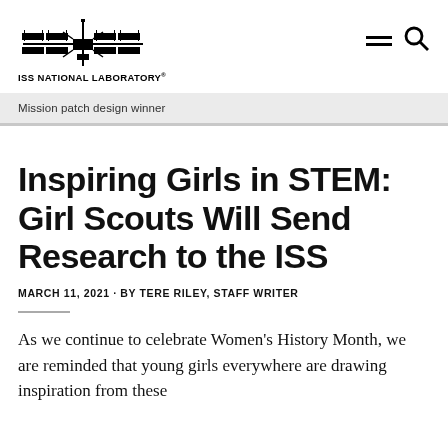ISS NATIONAL LABORATORY
Mission patch design winner
Inspiring Girls in STEM: Girl Scouts Will Send Research to the ISS
MARCH 11, 2021 · BY TERE RILEY, STAFF WRITER
As we continue to celebrate Women's History Month, we are reminded that young girls everywhere are drawing inspiration from these